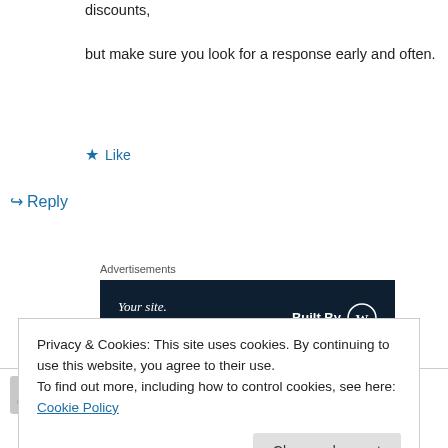discounts,

but make sure you look for a response early and often.
★ Like
↪ Reply
Advertisements
[Figure (other): Dark navy advertisement banner: 'Your site. Built by us. Built for you.' with WordPress Built By logo on the right.]
Nike Plus on June 1, 2014 at 11:01 am
Privacy & Cookies: This site uses cookies. By continuing to use this website, you agree to their use.
To find out more, including how to control cookies, see here: Cookie Policy

Close and accept